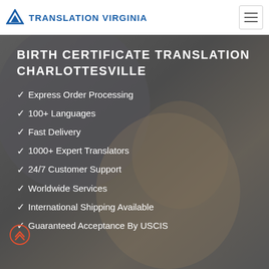[Figure (logo): Translation Virginia logo with blue downward-pointing triangle/chevron icon and bold blue text 'TRANSLATION VIRGINIA']
[Figure (illustration): Hamburger menu icon button in top right corner]
[Figure (photo): Background photo of a woman wearing a grey knit hat, blurred/darkened with overlay]
BIRTH CERTIFICATE TRANSLATION CHARLOTTESVILLE
Express Order Processing
100+ Languages
Fast Delivery
1000+ Expert Translators
24/7 Customer Support
Worldwide Services
International Shipping Available
Guaranteed Acceptance By USCIS